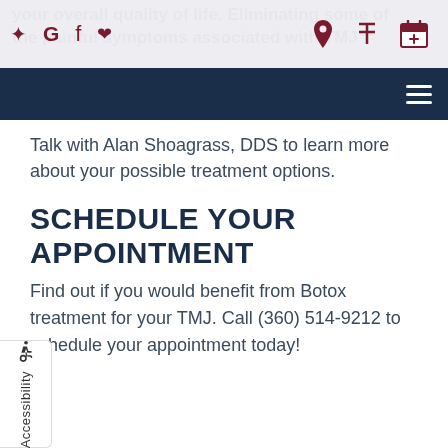your overall quality of life. Eliminating some of the painful symptoms associated with TMJ
Talk with Alan Shoagrass, DDS to learn more about your possible treatment options.
SCHEDULE YOUR APPOINTMENT
Find out if you would benefit from Botox treatment for your TMJ. Call (360) 514-9212 to schedule your appointment today!